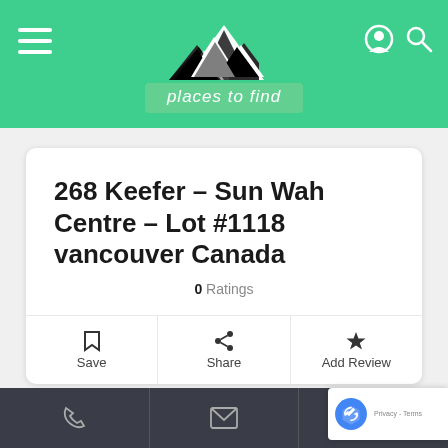[Figure (logo): Places to Find website header with green background, mountain logo, hamburger menu, user and search icons]
268 Keefer – Sun Wah Centre – Lot #1118 vancouver Canada
0 Ratings
Save
Share
Add Review
Open Now~
+ Sh
[Figure (screenshot): Bottom navigation bar with phone, email, and location icons on dark background]
[Figure (logo): reCAPTCHA badge overlay with logo and Privacy - Terms text]